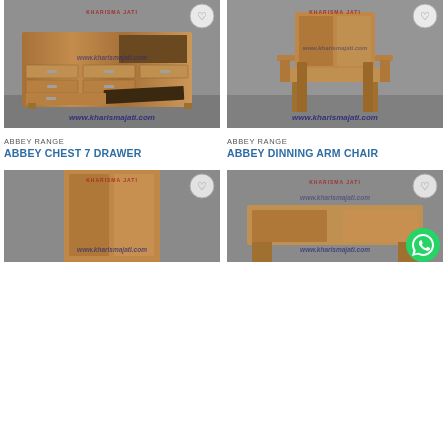[Figure (photo): Teak wood chest of drawers with 7 drawers and open shelf, Kharisma Jati product photo, watermark www.kharismajati.com]
ABBEY RANGE
ABBEY CHEST 7 DRAWER
[Figure (photo): Teak wood dining arm chair, Kharisma Jati product photo, watermark www.kharismajati.com]
ABBEY RANGE
ABBEY DINNING ARM CHAIR
[Figure (photo): Teak wood panel/headboard product, Kharisma Jati, partial view]
[Figure (photo): Teak wood furniture item, Kharisma Jati, partial view, WhatsApp button overlay]